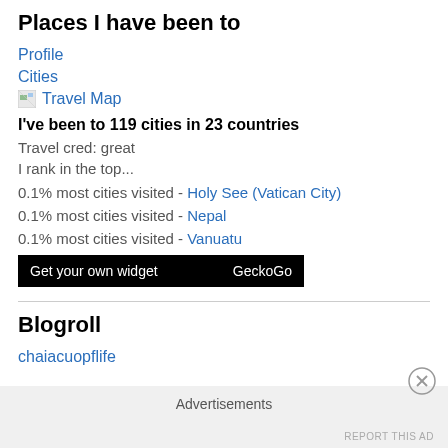Places I have been to
Profile
Cities
Travel Map
I've been to 119 cities in 23 countries
Travel cred: great
I rank in the top...
0.1% most cities visited - Holy See (Vatican City)
0.1% most cities visited - Nepal
0.1% most cities visited - Vanuatu
[Figure (other): Widget bar with 'Get your own widget' on left and 'GeckoGo' on right, black background]
Blogroll
chaiacuopflife
Advertisements
REPORT THIS AD